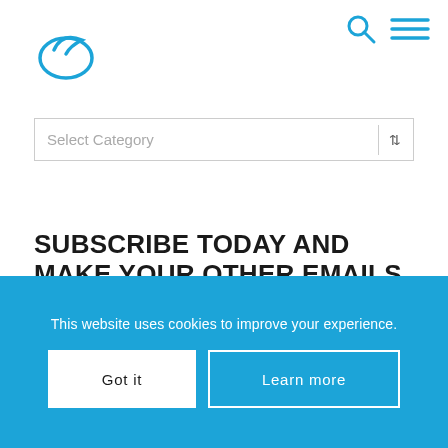[Figure (logo): Blue circular logo with a stylized bird or swoosh shape]
[Figure (infographic): Navigation icons: search magnifier and hamburger menu in blue]
Select Category
SUBSCRIBE TODAY AND MAKE YOUR OTHER EMAILS JEALOUS
Email *
This website uses cookies to improve your experience.
Got it
Learn more